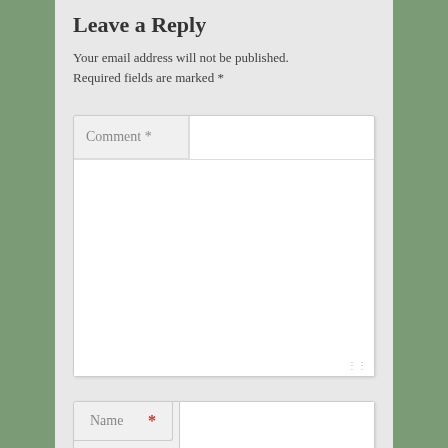Leave a Reply
Your email address will not be published. Required fields are marked *
[Figure (screenshot): Comment text area form field with label 'Comment *' and large white input area with resize handle]
[Figure (screenshot): Name input form field with label 'Name' and red asterisk required marker]